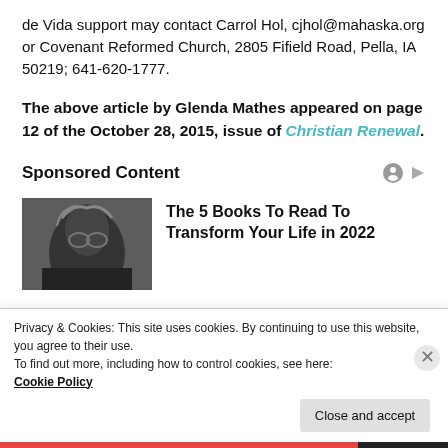de Vida support may contact Carrol Hol, cjhol@mahaska.org or Covenant Reformed Church, 2805 Fifield Road, Pella, IA 50219; 641-620-1777.
The above article by Glenda Mathes appeared on page 12 of the October 28, 2015, issue of Christian Renewal.
Sponsored Content
[Figure (photo): Black and white photo of a person's face looking upward]
The 5 Books To Read To Transform Your Life in 2022
Privacy & Cookies: This site uses cookies. By continuing to use this website, you agree to their use.
To find out more, including how to control cookies, see here: Cookie Policy
Close and accept